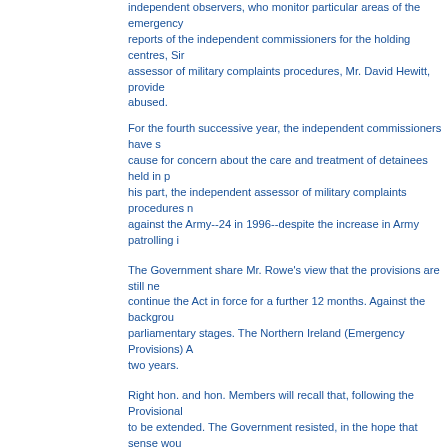independent observers, who monitor particular areas of the emergency provisions. The reports of the independent commissioners for the holding centres, Sir Louis Blom-Cooper, assessor of military complaints procedures, Mr. David Hewitt, provide assurance that detainees are not abused.
For the fourth successive year, the independent commissioners have said that there is no cause for concern about the care and treatment of detainees held in policy custody. For his part, the independent assessor of military complaints procedures noted that complaints against the Army--24 in 1996--despite the increase in Army patrolling in 1996.
The Government share Mr. Rowe's view that the provisions are still necessary, and wish to continue the Act in force for a further 12 months. Against the background, I am taking all parliamentary stages. The Northern Ireland (Emergency Provisions) Act 1996 was renewed for two years.
Right hon. and hon. Members will recall that, following the Provisional IRA ceasefire, the Act was to be extended. The Government resisted, in the hope that sense would prevail and there would be a ceasefire. They had already requested Lord Lloyd of Berwick to consider what legislation would be needed in the United Kingdom in the event of a lasting peace in Northern Ireland. The Government wish to build on Lord Lloyd's recommendations for proposals for a new legislative framework.
In the event, Lord Lloyd reported in October 1996, against the background of continuing terrorism in Northern Ireland. He has said that, even if there were lasting peace in Northern Ireland, legislation would be needed to meet the threat of other kinds of terrorism, both domestic and international. His recommendations, all of which assume lasting peace.
The Government acknowledge the considerable contribution that Lord Lloyd has made in his report, as announced to the House by my right hon. and learned Friend the Home Secretary in answer to a parliamentary question, in the continuing absence of a lasting peace, the Government will not be bringing forward possible fundamental legislative change.
We hope sincerely that there will be a renewed and permanent cessation of violence and the idea of a new legislative.